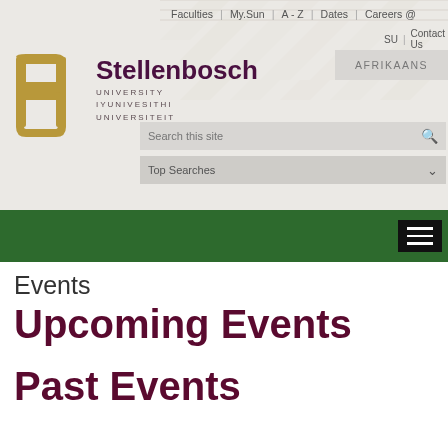[Figure (logo): Stellenbosch University logo with golden SU monogram and text 'Stellenbosch UNIVERSITY IYUNIVESITHI UNIVERSITEIT']
Faculties | My.Sun | A - Z | Dates | Careers @ SU | Contact Us | AFRIKAANS | Search this site | Top Searches
Events
Upcoming Events
Past Events